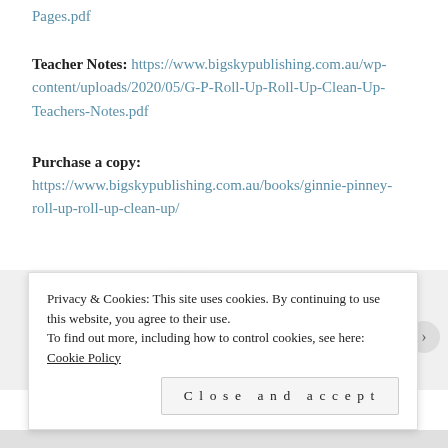Pages.pdf
Teacher Notes: https://www.bigskypublishing.com.au/wp-content/uploads/2020/05/G-P-Roll-Up-Roll-Up-Clean-Up-Teachers-Notes.pdf
Purchase a copy:
https://www.bigskypublishing.com.au/books/ginnie-pinney-roll-up-roll-up-clean-up/
[Figure (photo): Three children's book covers: '3,2,1, Here I Come', 'When I Grow Up', and 'A Bedtime Story', shown partially at the bottom of the page.]
Privacy & Cookies: This site uses cookies. By continuing to use this website, you agree to their use.
To find out more, including how to control cookies, see here: Cookie Policy
Close and accept